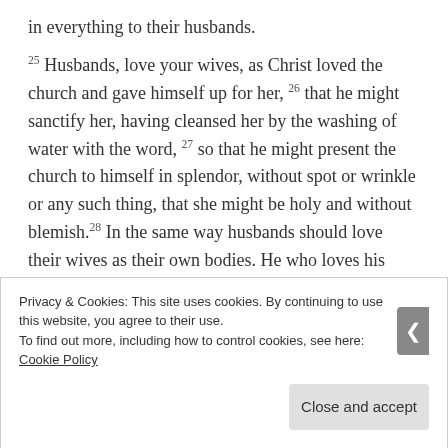in everything to their husbands.
25 Husbands, love your wives, as Christ loved the church and gave himself up for her, 26 that he might sanctify her, having cleansed her by the washing of water with the word, 27 so that he might present the church to himself in splendor, without spot or wrinkle or any such thing, that she might be holy and without blemish.28 In the same way husbands should love their wives as their own bodies. He who loves his wife loves himself. 29 For no one ever hated his own flesh, but nourishes and cherishes it, just as Christ does the church, 30 because we are members of his body. 31 “Therefore a man shall leave his father and mother and
Privacy & Cookies: This site uses cookies. By continuing to use this website, you agree to their use.
To find out more, including how to control cookies, see here: Cookie Policy
Close and accept